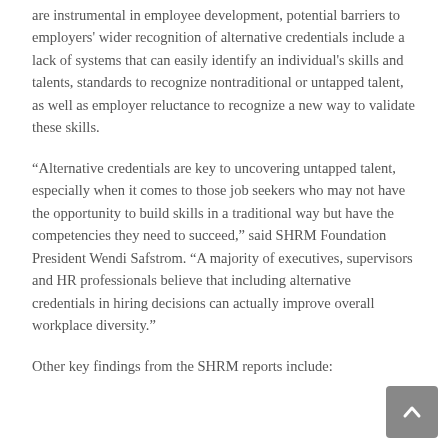are instrumental in employee development, potential barriers to employers' wider recognition of alternative credentials include a lack of systems that can easily identify an individual's skills and talents, standards to recognize nontraditional or untapped talent, as well as employer reluctance to recognize a new way to validate these skills.
“Alternative credentials are key to uncovering untapped talent, especially when it comes to those job seekers who may not have the opportunity to build skills in a traditional way but have the competencies they need to succeed,” said SHRM Foundation President Wendi Safstrom. “A majority of executives, supervisors and HR professionals believe that including alternative credentials in hiring decisions can actually improve overall workplace diversity.”
Other key findings from the SHRM reports include: